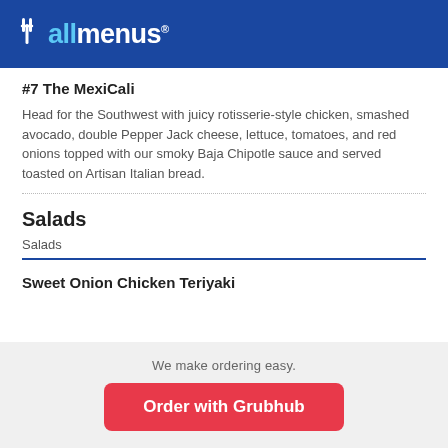allmenus
#7 The MexiCali
Head for the Southwest with juicy rotisserie-style chicken, smashed avocado, double Pepper Jack cheese, lettuce, tomatoes, and red onions topped with our smoky Baja Chipotle sauce and served toasted on Artisan Italian bread.
Salads
Salads
Sweet Onion Chicken Teriyaki
We make ordering easy. Order with Grubhub